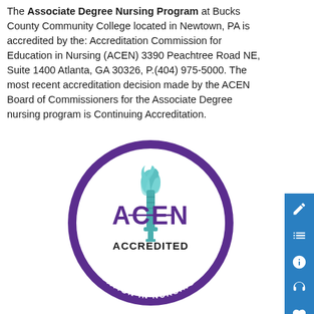The Associate Degree Nursing Program at Bucks County Community College located in Newtown, PA is accredited by the: Accreditation Commission for Education in Nursing (ACEN) 3390 Peachtree Road NE, Suite 1400 Atlanta, GA 30326, P.(404) 975-5000. The most recent accreditation decision made by the ACEN Board of Commissioners for the Associate Degree nursing program is Continuing Accreditation.
[Figure (logo): ACEN (Accreditation Commission for Education in Nursing) circular accreditation seal with purple border, teal torch graphic, purple ACEN text, and ACCREDITED text in black. Border reads ACCREDITATION COMMISSION FOR EDUCATION IN NURSING.]